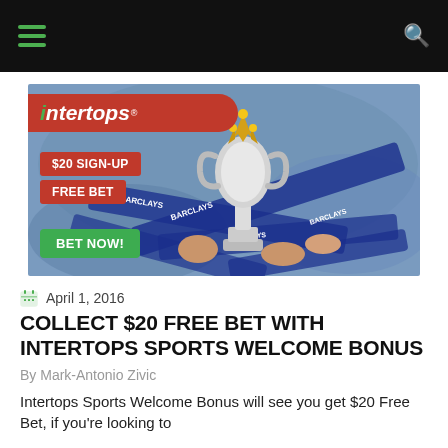Navigation bar with hamburger menu and search icon
[Figure (photo): Intertops sportsbook advertisement banner showing a Premier League trophy held up by fans with blue Barclays scarves. Banner includes red oval logo reading 'intertops', red buttons for '$20 SIGN-UP' and 'FREE BET', and a green 'BET NOW!' button.]
April 1, 2016
COLLECT $20 FREE BET WITH INTERTOPS SPORTS WELCOME BONUS
By Mark-Antonio Zivic
Intertops Sports Welcome Bonus will see you get $20 Free Bet, if you're looking to